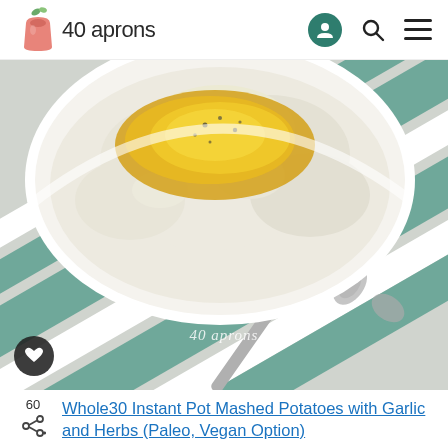40 aprons
[Figure (photo): Close-up photo of mashed potatoes in a white bowl topped with melted butter and black pepper, with a silver fork on a teal and white striped cloth. Watermark '40 aprons' visible. Heart/save button in bottom left corner.]
Whole30 Instant Pot Mashed Potatoes with Garlic and Herbs (Paleo, Vegan Option)